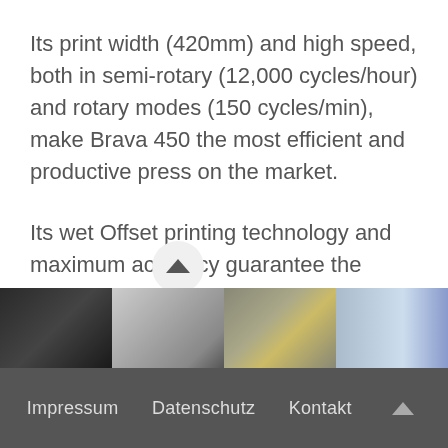Its print width (420mm) and high speed, both in semi-rotary (12,000 cycles/hour) and rotary modes (150 cycles/min), make Brava 450 the most efficient and productive press on the market.
Its wet Offset printing technology and maximum accuracy guarantee the highest quality.
[Figure (photo): A horizontal strip of four thumbnail photos showing printing press machinery and equipment details, partially visible at the bottom of the page with an up-arrow navigation button above.]
Impressum   Datenschutz   Kontakt   ^